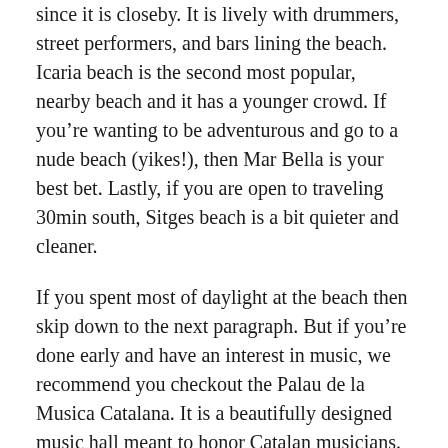since it is closeby. It is lively with drummers, street performers, and bars lining the beach. Icaria beach is the second most popular, nearby beach and it has a younger crowd. If you're wanting to be adventurous and go to a nude beach (yikes!), then Mar Bella is your best bet. Lastly, if you are open to traveling 30min south, Sitges beach is a bit quieter and cleaner.
If you spent most of daylight at the beach then skip down to the next paragraph. But if you're done early and have an interest in music, we recommend you checkout the Palau de la Musica Catalana. It is a beautifully designed music hall meant to honor Catalan musicians. Tours run all day, by language, so lookup the schedule prior to going.
Later in the evening head to El Born neighborhood for some good ol' fashioned sightseeing. The Santa Maria del Mar is a beautiful gothic basilica with